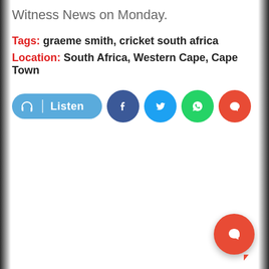Witness News on Monday.
Tags: graeme smith, cricket south africa
Location: South Africa, Western Cape, Cape Town
[Figure (infographic): Row of social/action buttons: Listen button (blue pill shape with headphone icon), Facebook circle (dark blue), Twitter circle (light blue), WhatsApp circle (green), Comment circle (red-orange). Plus a floating red-orange chat button in the bottom right corner.]